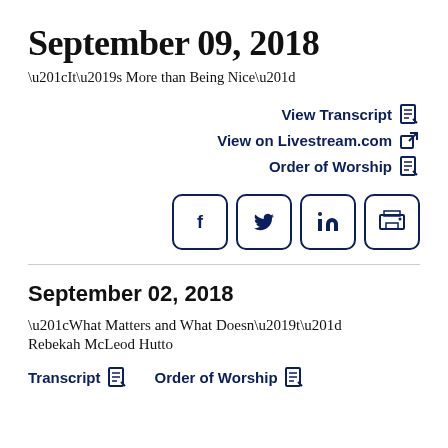September 09, 2018
“It’s More than Being Nice”
View Transcript
View on Livestream.com
Order of Worship
[Figure (other): Social share buttons: Facebook, Twitter, LinkedIn, Print]
September 02, 2018
“What Matters and What Doesn’t”
Rebekah McLeod Hutto
Transcript   Order of Worship